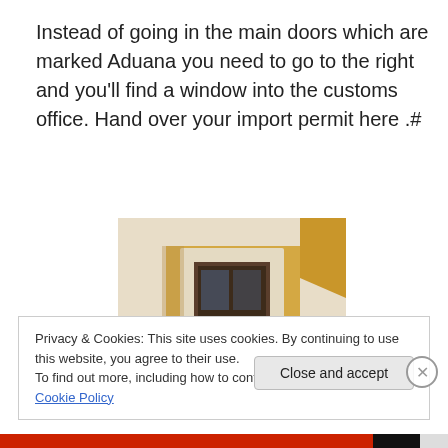Instead of going in the main doors which are marked Aduana you need to go to the right and you'll find a window into the customs office. Hand over your import permit here .#
[Figure (photo): Photo of a yellow and white wall with a small window/door opening with a dark frame, typical of a customs or administrative building.]
Privacy & Cookies: This site uses cookies. By continuing to use this website, you agree to their use.
To find out more, including how to control cookies, see here: Cookie Policy
Close and accept